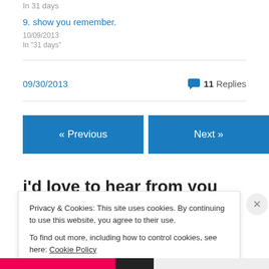In  31 days
9. show you remember.
10/09/2013
In "31 days"
09/30/2013
11 Replies
« Previous
Next »
i'd love to hear from you
Privacy & Cookies: This site uses cookies. By continuing to use this website, you agree to their use.
To find out more, including how to control cookies, see here: Cookie Policy
Close and accept